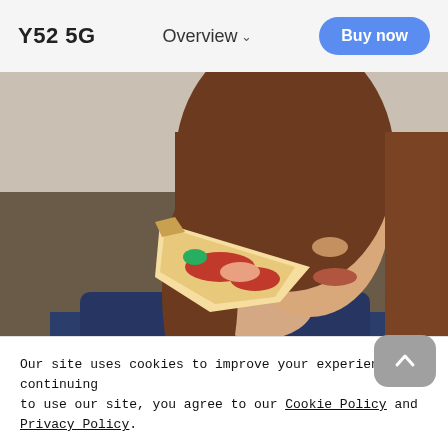Y52 5G   Overview   Buy now
[Figure (photo): Close-up photo of a young woman with long brown hair eating a slice of pizza, wearing a dark blue top and a ring on her finger, blurred background]
× Our site uses cookies to improve your experience. By continuing to use our site, you agree to our Cookie Policy and Privacy Policy.